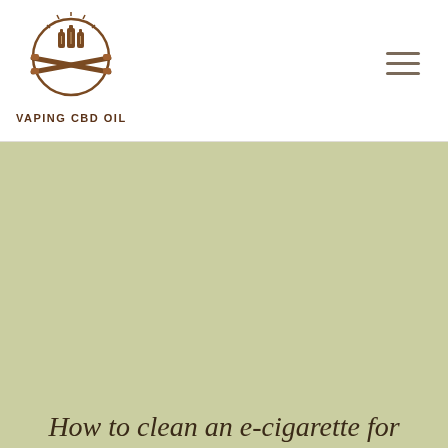[Figure (logo): Vaping CBD Oil logo with crossed cigars/vapes and small bottles inside a circular emblem, brown color scheme]
VAPING CBD OIL
[Figure (illustration): Olive/sage green textured background hero image]
How to clean an e-cigarette for